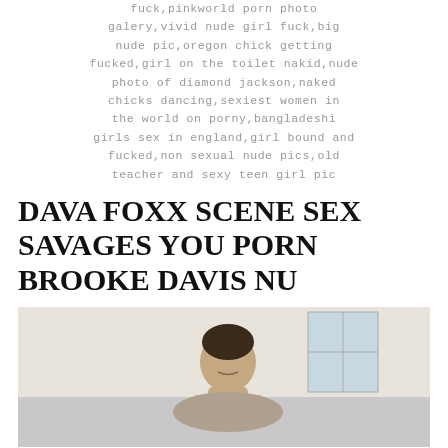fuck,pinkworld porn photo galery,vivid nude girl fuck,big nude pic,oregon chick getting fucked,girl on the toilet nakid,nude photo of diamond jackson,naked chicks dancing,sexiest women in the world on porny,bangladeshi girls sex in england,girl bound and fucked,non sexual nude pics,old teacher and sexy teen girl pic
DAVA FOXX SCENE SEX SAVAGES YOU PORN BROOKE DAVIS NU
[Figure (photo): A person with short dark hair leaning over, photographed indoors with a light-colored wall and window in the background.]